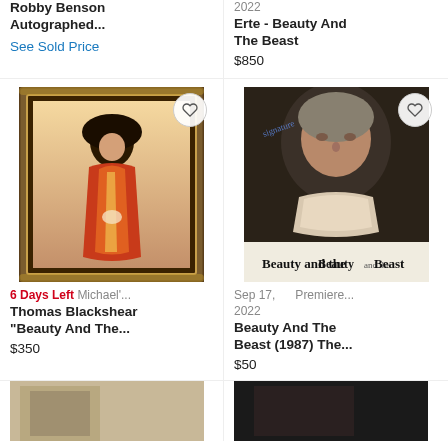Robby Benson Autographed...
See Sold Price
2022
Erte - Beauty And The Beast
$850
[Figure (photo): Framed artwork print of a woman in red dress with ornate gold frame - Thomas Blackshear Beauty And The...]
6 Days Left  Michael'...
Thomas Blackshear "Beauty And The...
$350
[Figure (photo): Autographed photo of actor in costume from Beauty and the Beast (1987) TV show]
Sep 17, 2022   Premiere...
Beauty And The Beast (1987) The...
$50
[Figure (photo): Partial bottom image - left item]
[Figure (photo): Partial bottom image - right item]